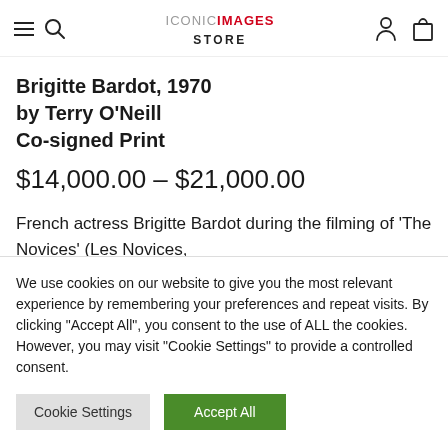ICONIC IMAGES STORE — navigation bar with hamburger menu, search, account, and bag icons
Brigitte Bardot, 1970 by Terry O'Neill Co-signed Print
$14,000.00 – $21,000.00
French actress Brigitte Bardot during the filming of 'The Novices' (Les Novices,
We use cookies on our website to give you the most relevant experience by remembering your preferences and repeat visits. By clicking "Accept All", you consent to the use of ALL the cookies. However, you may visit "Cookie Settings" to provide a controlled consent.